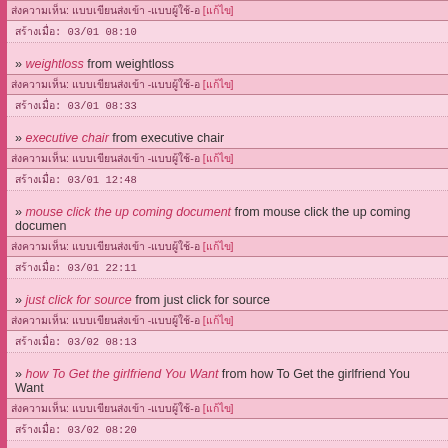meta line (Thai) -xxxx-x [xxxxx] / Timestamp: 03/01 08:10
» weightloss from weightloss / meta / 03/01 08:33
» executive chair from executive chair / meta / 03/01 12:48
» mouse click the up coming document from mouse click the up coming document / meta / 03/01 22:11
» just click for source from just click for source / meta / 03/02 08:13
» how To Get the girlfriend You Want from how To Get the girlfriend You Want / meta / 03/02 08:20
» http://69.89.31.189 from http://69.89.31.189 / meta